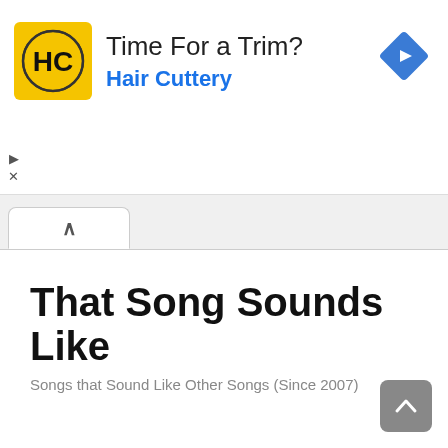[Figure (screenshot): Advertisement banner for Hair Cuttery with yellow logo showing HC letters, headline 'Time For a Trim?' and blue text 'Hair Cuttery', with a blue diamond navigation icon on the right and ad controls (play/close) on the left.]
That Song Sounds Like
Songs that Sound Like Other Songs (Since 2007)